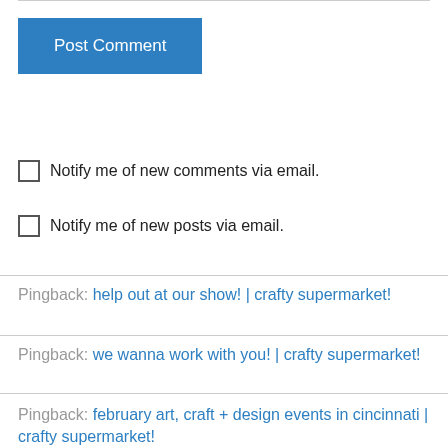Post Comment
Notify me of new comments via email.
Notify me of new posts via email.
Pingback: help out at our show! | crafty supermarket!
Pingback: we wanna work with you! | crafty supermarket!
Pingback: february art, craft + design events in cincinnati | crafty supermarket!
Pingback: real talk: prices at craft shows | crafty